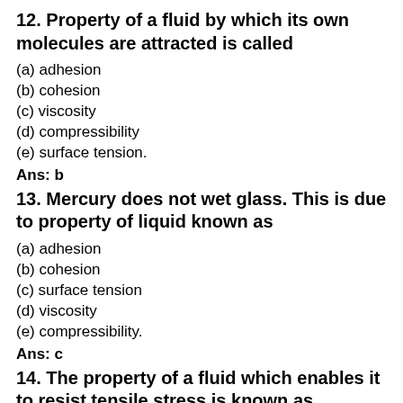12. Property of a fluid by which its own molecules are attracted is called
(a) adhesion
(b) cohesion
(c) viscosity
(d) compressibility
(e) surface tension.
Ans: b
13. Mercury does not wet glass. This is due to property of liquid known as
(a) adhesion
(b) cohesion
(c) surface tension
(d) viscosity
(e) compressibility.
Ans: c
14. The property of a fluid which enables it to resist tensile stress is known as